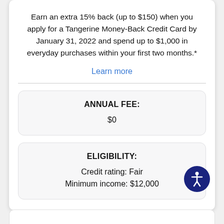Earn an extra 15% back (up to $150) when you apply for a Tangerine Money-Back Credit Card by January 31, 2022 and spend up to $1,000 in everyday purchases within your first two months.*
Learn more
| ANNUAL FEE: |
| --- |
| $0 |
| ELIGIBILITY: |
| --- |
| Credit rating: Fair |
| Minimum income: $12,000 |